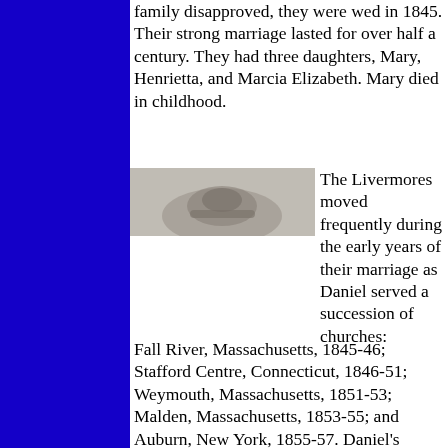family disapproved, they were wed in 1845. Their strong marriage lasted for over half a century. They had three daughters, Mary, Henrietta, and Marcia Elizabeth. Mary died in childhood.
[Figure (photo): A small black and white photograph, partially visible, showing what appears to be a person's portrait, cropped at the top.]
The Livermores moved frequently during the early years of their marriage as Daniel served a succession of churches: Fall River, Massachusetts, 1845-46; Stafford Centre, Connecticut, 1846-51; Weymouth, Massachusetts, 1851-53; Malden, Massachusetts, 1853-55; and Auburn, New York, 1855-57. Daniel's stands on slavery